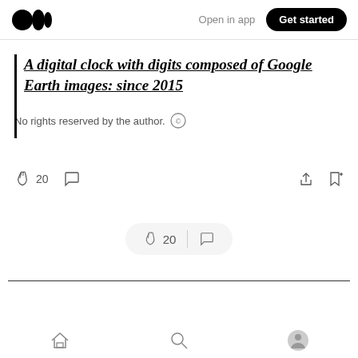Medium logo | Open in app | Get started
A digital clock with digits composed of Google Earth images: since 2015
No rights reserved by the author.
20 claps, comment, share, bookmark actions
[Figure (other): Floating pill action bar with clap (20) and comment icons]
Bottom navigation: Home, Search, Profile